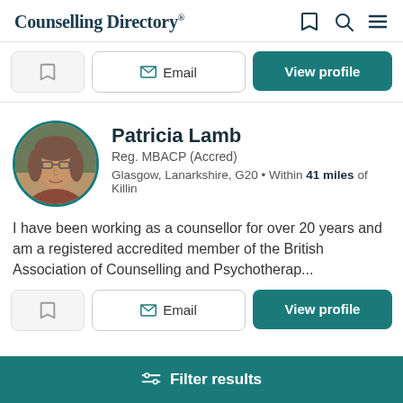Counselling Directory
Email | View profile
[Figure (photo): Profile photo of Patricia Lamb, a woman with glasses and shoulder-length hair, shown in a circular frame with teal border]
Patricia Lamb
Reg. MBACP (Accred)
Glasgow, Lanarkshire, G20 • Within 41 miles of Killin
I have been working as a counsellor for over 20 years and am a registered accredited member of the British Association of Counselling and Psychotherap...
Email | View profile
Filter results